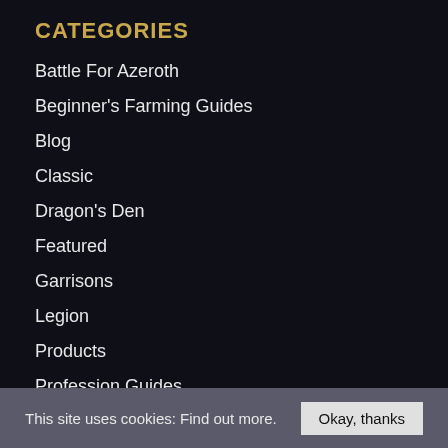CATEGORIES
Battle For Azeroth
Beginner's Farming Guides
Blog
Classic
Dragon's Den
Featured
Garrisons
Legion
Products
Profession Guides
Shadowlands
Spectral Tiger Owner's Club
Tools & Addons
Warcraft Auction House
This site uses cookies: Find out more. Okay, thanks